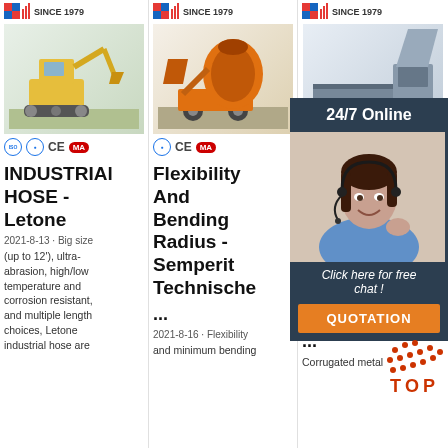[Figure (photo): Logo - MLE Since 1979]
[Figure (photo): Yellow excavator/construction machine product photo]
[Figure (logo): Certification badges: ISO, CE, MA]
INDUSTRIAL HOSE - Letone
2021-8-13 · Big size (up to 12'), ultra-abrasion, high/low temperature and corrosion resistant, and multiple length choices, Letone industrial hose are
[Figure (logo): Logo - MLE Since 1979 (second column)]
[Figure (photo): Orange concrete mixer/construction machine product photo]
[Figure (logo): Certification badges: ISO, CE, MA]
Flexibility And Bending Radius - Semperit Technische ...
2021-8-16 · Flexibility and minimum bending
[Figure (logo): Logo - MLE Since 1979 (third column)]
[Figure (photo): Industrial machine / conveyor product photo]
HO M. FL M As 321 Stainless ...
Corrugated metal
[Figure (infographic): 24/7 Online chat panel with customer service representative photo, 'Click here for free chat!' text, QUOTATION button, and TOP badge]